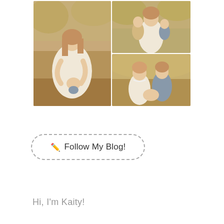[Figure (photo): Photo collage of a woman with children in an outdoor nature setting. Left: large photo of a woman in a white dress kneeling and holding a baby. Top right: woman in white dress with two children hugging her. Bottom right: woman and older boy leaning over a baby. Warm golden-hour lighting with trees in background.]
✏ Follow My Blog!
Hi, I'm Kaity!